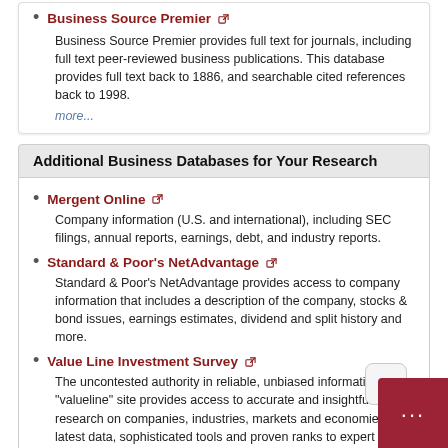Business Source Premier
Business Source Premier provides full text for journals, including full text peer-reviewed business publications. This database provides full text back to 1886, and searchable cited references back to 1998.
more...
Additional Business Databases for Your Research
Mergent Online
Company information (U.S. and international), including SEC filings, annual reports, earnings, debt, and industry reports.
Standard & Poor's NetAdvantage
Standard & Poor's NetAdvantage provides access to company information that includes a description of the company, stocks & bond issues, earnings estimates, dividend and split history and more.
Value Line Investment Survey
The uncontested authority in reliable, unbiased information, the "valueline" site provides access to accurate and insightful inve... research on companies, industries, markets and economies. ... latest data, sophisticated tools and proven ranks to expert analysis